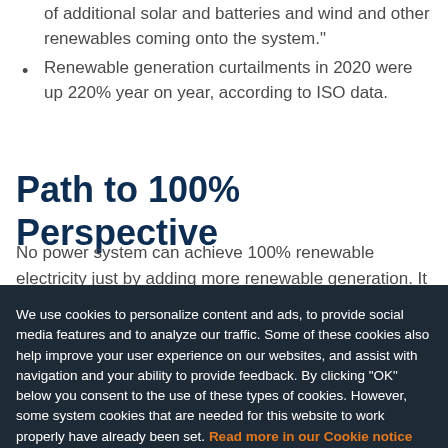of additional solar and batteries and wind and other renewables coming onto the system."
Renewable generation curtailments in 2020 were up 220% year on year, according to ISO data.
Path to 100% Perspective
No power system can achieve 100% renewable electricity just by adding more renewable generation. It also needs to slash fossil-fueled generation. That means reducing reliance on traditional gas- and coal-fired power stations. But there are physical limits to how quickly they can power up and down when the sun rises or sets. Because traditional power stations require many hours to shut down and many hours to start back up, they cannot power up and down quickly enough to
We use cookies to personalize content and ads, to provide social media features and to analyze our traffic. Some of these cookies also help improve your user experience on our websites, and assist with navigation and your ability to provide feedback. By clicking “OK” below you consent to the use of these types of cookies. However, some system cookies that are needed for this website to work properly have already been set. Read more in our Cookie notice on how to prevent any cookies from being set.